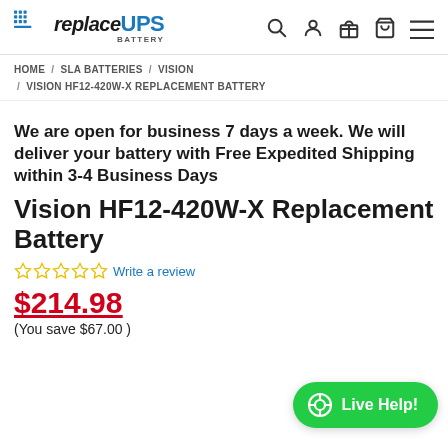replaceUPS BATTERY — HOME / SLA BATTERIES / VISION / VISION HF12-420W-X REPLACEMENT BATTERY
We are open for business 7 days a week. We will deliver your battery with Free Expedited Shipping within 3-4 Business Days
Vision HF12-420W-X Replacement Battery
☆☆☆☆☆ Write a review
$214.98
(You save $67.00 )